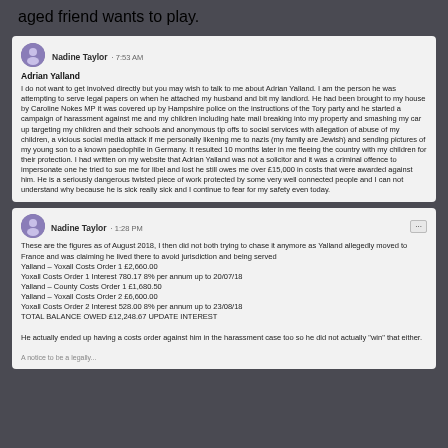aged friend wants to play.
[Figure (screenshot): Facebook post by Nadine Taylor at 7:53 AM mentioning Adrian Yalland, describing harassment, legal proceedings, and personal threats.]
[Figure (screenshot): Facebook post by Nadine Taylor at 1:28 PM listing cost orders owed by Yalland totaling £12,248.67 and noting he ended up with a costs order against him in the harassment case.]